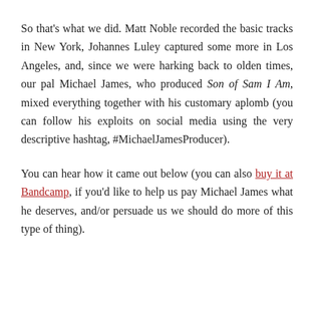So that's what we did. Matt Noble recorded the basic tracks in New York, Johannes Luley captured some more in Los Angeles, and, since we were harking back to olden times, our pal Michael James, who produced Son of Sam I Am, mixed everything together with his customary aplomb (you can follow his exploits on social media using the very descriptive hashtag, #MichaelJamesProducer).
You can hear how it came out below (you can also buy it at Bandcamp, if you'd like to help us pay Michael James what he deserves, and/or persuade us we should do more of this type of thing).